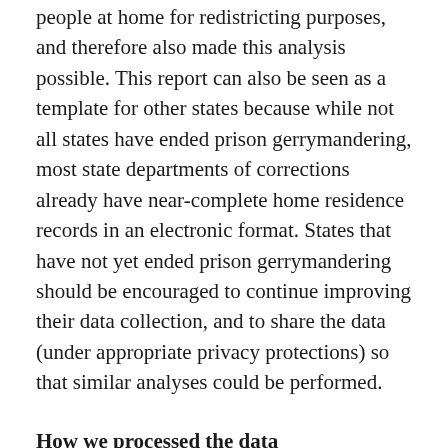people at home for redistricting purposes, and therefore also made this analysis possible. This report can also be seen as a template for other states because while not all states have ended prison gerrymandering, most state departments of corrections already have near-complete home residence records in an electronic format. States that have not yet ended prison gerrymandering should be encouraged to continue improving their data collection, and to share the data (under appropriate privacy protections) so that similar analyses could be performed.
How we processed the data
New Jersey's law ending prison gerrymandering required the Department of Corrections to share the home addresses of people in state prisons on Census Day 2020 with redistricting officials, so that these officials could remove imprisoned people from the redistricting